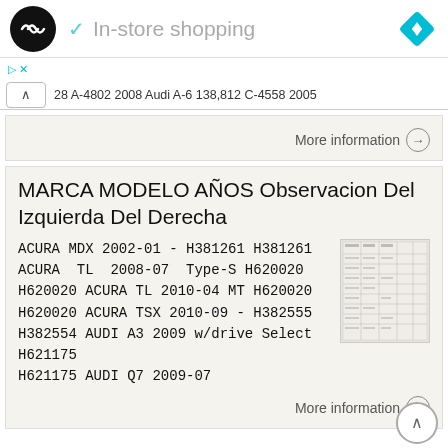In-store shopping
28 A-4802 2008 Audi A-6 138,812 C-4558 2005
More information →
MARCA MODELO AÑOS Observacion Del Izquierda Del Derecha
ACURA MDX 2002-01 - H381261 H381261 ACURA TL 2008-07 Type-S H620020 H620020 ACURA TL 2010-04 MT H620020 H620020 ACURA TSX 2010-09 - H382555 H382554 AUDI A3 2009 w/drive Select H621175 H621175 AUDI Q7 2009-07
More information →